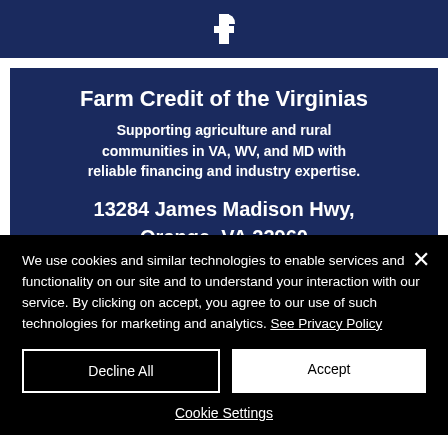[Figure (logo): Facebook logo icon in white on dark navy background]
Farm Credit of the Virginias
Supporting agriculture and rural communities in VA, WV, and MD with reliable financing and industry expertise.
13284 James Madison Hwy,
Orange, VA 22960
(540) 672-3644
We use cookies and similar technologies to enable services and functionality on our site and to understand your interaction with our service. By clicking on accept, you agree to our use of such technologies for marketing and analytics. See Privacy Policy
Decline All
Accept
Cookie Settings